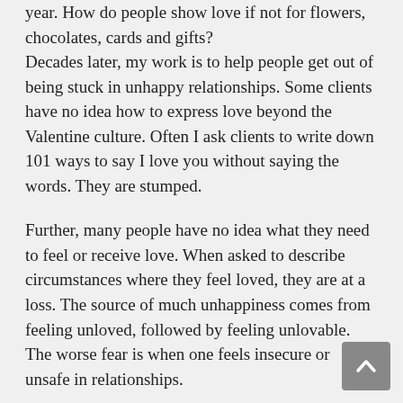year. How do people show love if not for flowers, chocolates, cards and gifts? Decades later, my work is to help people get out of being stuck in unhappy relationships. Some clients have no idea how to express love beyond the Valentine culture. Often I ask clients to write down 101 ways to say I love you without saying the words. They are stumped.
Further, many people have no idea what they need to feel or receive love. When asked to describe circumstances where they feel loved, they are at a loss. The source of much unhappiness comes from feeling unloved, followed by feeling unlovable. The worse fear is when one feels insecure or unsafe in relationships.
Like picking the petals off a daisy; he loves me, he loves me not; ambiguity and self-doubt manifest as fear. Jealousy is fear. Anger is fear. Frustration is fear. Anxiety is fear. Depression is fear. Rejection is amongst the greatest of